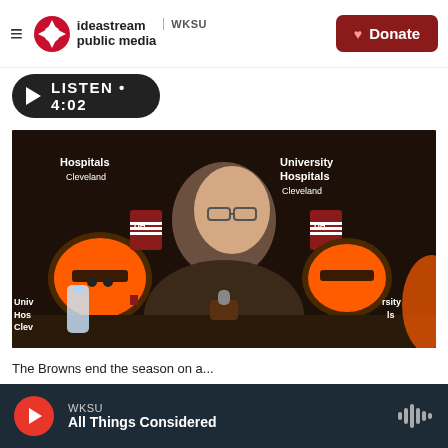ideastream public media  WKSU  Donate
LISTEN • 4:02
[Figure (photo): Man in dark pullover jacket sitting at a press conference table with Cleveland Browns and University Hospitals Cleveland logos in the background. A water bottle and microphone are visible on the table.]
The Browns end the season on a...
WKSU  All Things Considered